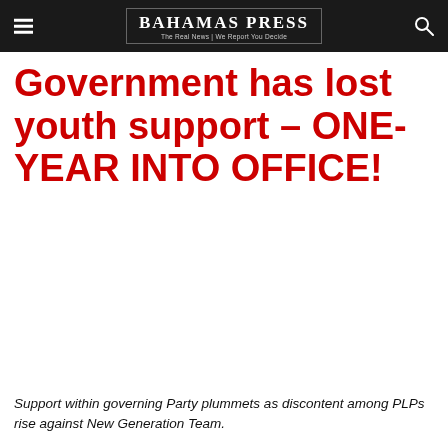BAHAMAS PRESS — The Real News | We Report You Decide
Government has lost youth support – ONE-YEAR INTO OFFICE!
Support within governing Party plummets as discontent among PLPs rise against New Generation Team.